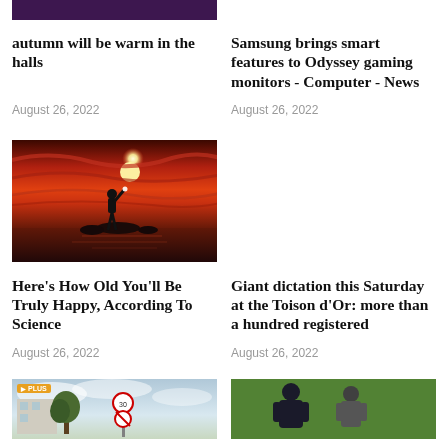[Figure (photo): Partial dark purple/blue image at top of page, clipped]
autumn will be warm in the halls
Samsung brings smart features to Odyssey gaming monitors - Computer - News
August 26, 2022
August 26, 2022
[Figure (photo): Silhouette of a person standing on rocks with arm raised, dramatic red/orange sunset sky with bright sun behind them]
Here’s How Old You’ll Be Truly Happy, According To Science
Giant dictation this Saturday at the Toison d’Or: more than a hundred registered
August 26, 2022
August 26, 2022
[Figure (photo): Outdoor street scene with trees and a road sign, cloudy sky, PLUS badge overlay]
[Figure (photo): Two people on a green field, one wearing dark jacket with hood]